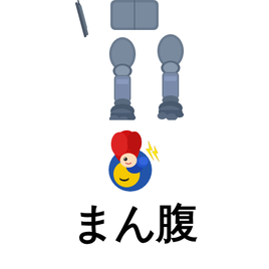[Figure (illustration): Lower body of a metallic blue/grey mecha robot action figure with articulated legs, feet, and a weapon visible at the top left. Cropped so only the legs and lower torso are visible.]
[Figure (illustration): Small cartoon mascot logo: a red-haired anime-style girl character punching or posing, with yellow lightning bolt effects, against a blue circular background with a yellow smiley-like face element.]
まん腹